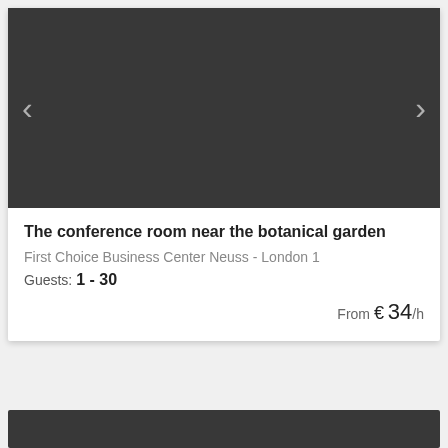[Figure (photo): Dark gray image area with left and right navigation arrows (carousel/slideshow placeholder) for a conference room photo]
The conference room near the botanical garden
First Choice Business Center Neuss - London 1
Guests: 1 - 30
From € 34/h